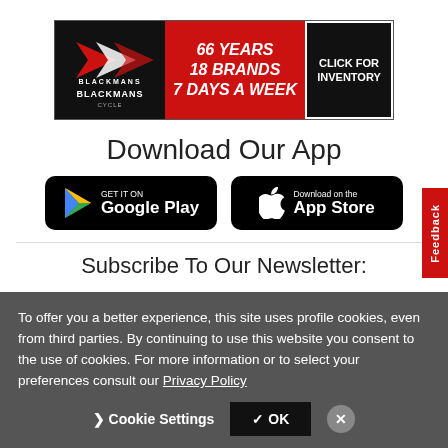[Figure (illustration): Blackmans Cycle banner ad: black background with logo on left, red middle section reading '66 YEARS 18 BRANDS 7 DAYS A WEEK' in bold italic white text, and right black section with white border reading 'CLICK FOR INVENTORY']
Download Our App
[Figure (logo): Google Play store download button: black rounded rectangle with Google Play triangle icon and text 'GET IT ON Google Play']
[Figure (logo): Apple App Store download button: black rounded rectangle with Apple logo and text 'Download on the App Store']
Subscribe To Our Newsletter:
To offer you a better experience, this site uses profile cookies, even from third parties. By continuing to use this website you consent to the use of cookies. For more information or to select your preferences consult our Privacy Policy
Cookie Settings  ✓ OK  ✕